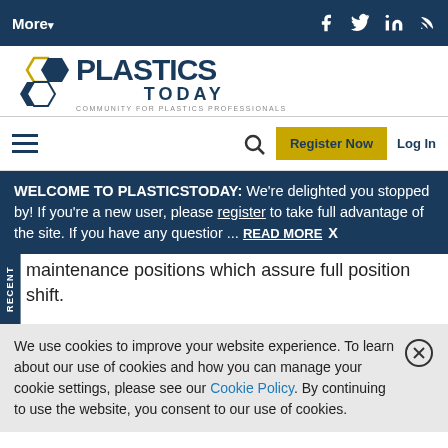More▾   [social icons: Facebook, Twitter, LinkedIn, RSS]
[Figure (logo): Plastics Today logo with hexagon shapes and tagline 'COMMUNITY FOR PLASTICS PROFESSIONALS']
[Figure (infographic): Navigation bar with hamburger menu, search icon, Register Now button, and Log In link]
WELCOME TO PLASTICSTODAY: We're delighted you stopped by! If you're a new user, please register to take full advantage of the site. If you have any questior ... READ MORE  X
maintenance positions which assure full position shift.
We use cookies to improve your website experience. To learn about our use of cookies and how you can manage your cookie settings, please see our Cookie Policy. By continuing to use the website, you consent to our use of cookies.